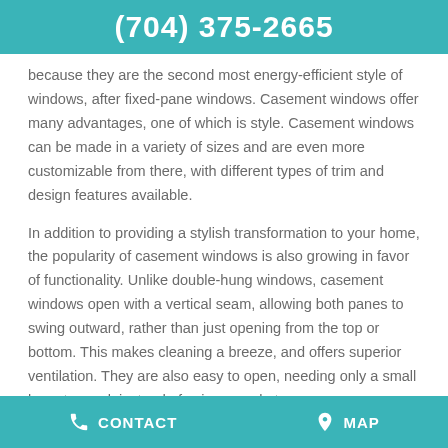(704) 375-2665
because they are the second most energy-efficient style of windows, after fixed-pane windows. Casement windows offer many advantages, one of which is style. Casement windows can be made in a variety of sizes and are even more customizable from there, with different types of trim and design features available.
In addition to providing a stylish transformation to your home, the popularity of casement windows is also growing in favor of functionality. Unlike double-hung windows, casement windows open with a vertical seam, allowing both panes to swing outward, rather than just opening from the top or bottom. This makes cleaning a breeze, and offers superior ventilation. They are also easy to open, needing only a small lever to crank instead of using muscle to
CONTACT   MAP